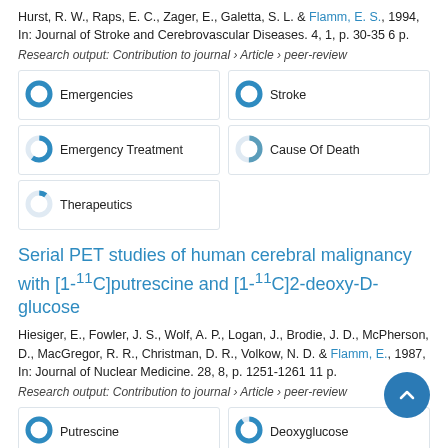Hurst, R. W., Raps, E. C., Zager, E., Galetta, S. L. & Flamm, E. S., 1994, In: Journal of Stroke and Cerebrovascular Diseases. 4, 1, p. 30-35 6 p.
Research output: Contribution to journal › Article › peer-review
[Figure (infographic): Keyword badges with donut chart icons: Emergencies (100%), Stroke (100%), Emergency Treatment (60%), Cause Of Death (50%), Therapeutics (10%)]
Serial PET studies of human cerebral malignancy with [1-11C]putrescine and [1-11C]2-deoxy-D-glucose
Hiesiger, E., Fowler, J. S., Wolf, A. P., Logan, J., Brodie, J. D., McPherson, D., MacGregor, R. R., Christman, D. R., Volkow, N. D. & Flamm, E., 1987, In: Journal of Nuclear Medicine. 28, 8, p. 1251-1261 11 p.
Research output: Contribution to journal › Article › peer-review
[Figure (infographic): Keyword badges with donut chart icons: Putrescine (100%), Deoxyglucose (90%), Astrocytoma (55%), Glucose (50%)]